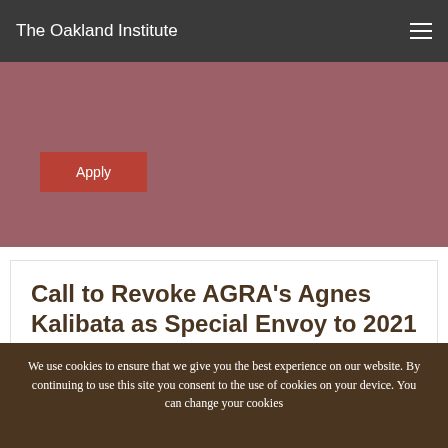The Oakland Institute
Call to Revoke AGRA's Agnes Kalibata as Special Envoy to 2021 UN Food Systems Summit
Media Coverage/ Press Release | February 6, 2020
Public Statement
AGRA, Food Systems Summit
We use cookies to ensure that we give you the best experience on our website. By continuing to use this site you consent to the use of cookies on your device. You can change your cookies